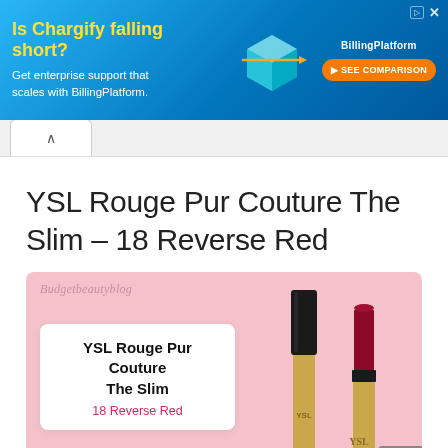[Figure (screenshot): Blue advertisement banner for BillingPlatform: 'Is Chargify falling short? Get enterprise support that scales with BillingPlatform.' with a SEE COMPARISON orange button and a 3D isometric billing icon graphic.]
YSL Rouge Pur Couture The Slim – 18 Reverse Red
[Figure (photo): Pink background product image showing two YSL Rouge Pur Couture The Slim lipsticks in gold and black packaging, with a white label card reading 'YSL Rouge Pur Couture The Slim / 18 Reverse Red' and budgetbeautyblog watermark.]